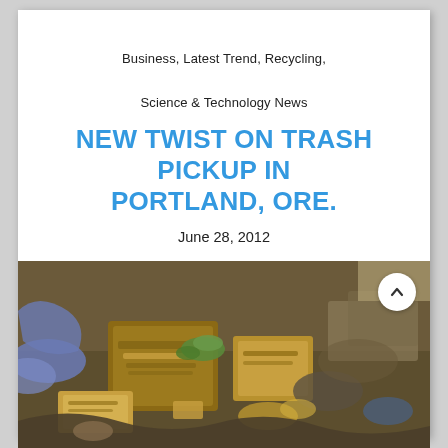Business, Latest Trend, Recycling,
Science & Technology News
NEW TWIST ON TRASH PICKUP IN PORTLAND, ORE.
June 28, 2012
[Figure (photo): Pile of trash and garbage including cardboard boxes (San Miguel), food waste, plastic bags and various debris on the ground.]